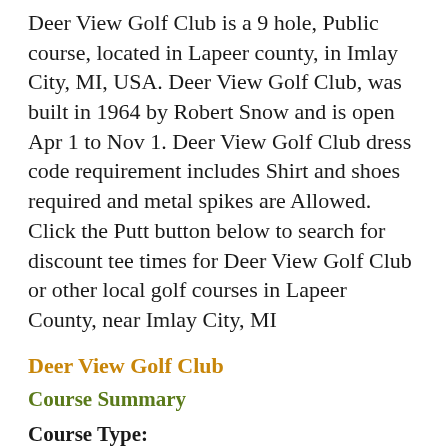Deer View Golf Club is a 9 hole, Public course, located in Lapeer county, in Imlay City, MI, USA. Deer View Golf Club, was built in 1964 by Robert Snow and is open Apr 1 to Nov 1. Deer View Golf Club dress code requirement includes Shirt and shoes required and metal spikes are Allowed. Click the Putt button below to search for discount tee times for Deer View Golf Club or other local golf courses in Lapeer County, near Imlay City, MI
Deer View Golf Club
Course Summary
Course Type:
Public